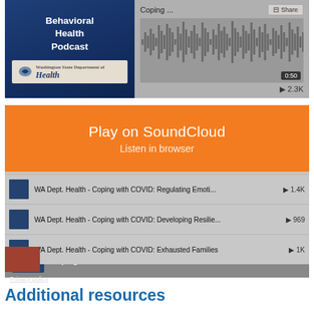[Figure (screenshot): SoundCloud embedded player showing 'WA Dept. Health - Coping with COVID: Behavioral Health Podcast' with orange 'Play on SoundCloud' and 'Listen in browser' overlay buttons, a waveform, album art, and a tracklist with four episodes.]
WA Dept. Health · Coping with COVID: Behavioral Health Podcast
Additional resources